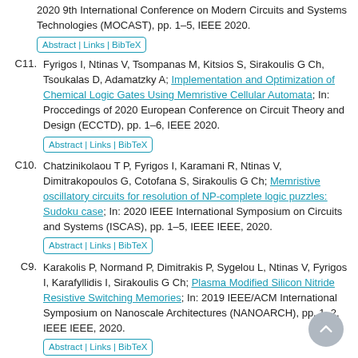2020 9th International Conference on Modern Circuits and Systems Technologies (MOCAST), pp. 1–5, IEEE 2020.
C11. Fyrigos I, Ntinas V, Tsompanas M, Kitsios S, Sirakoulis G Ch, Tsoukalas D, Adamatzky A; Implementation and Optimization of Chemical Logic Gates Using Memristive Cellular Automata; In: Proccedings of 2020 European Conference on Circuit Theory and Design (ECCTD), pp. 1–6, IEEE 2020.
C10. Chatzinikolaou T P, Fyrigos I, Karamani R, Ntinas V, Dimitrakopoulos G, Cotofana S, Sirakoulis G Ch; Memristive oscillatory circuits for resolution of NP-complete logic puzzles: Sudoku case; In: 2020 IEEE International Symposium on Circuits and Systems (ISCAS), pp. 1–5, IEEE IEEE, 2020.
C9. Karakolis P, Normand P, Dimitrakis P, Sygelou L, Ntinas V, Fyrigos I, Karafyllidis I, Sirakoulis G Ch; Plasma Modified Silicon Nitride Resistive Switching Memories; In: 2019 IEEE/ACM International Symposium on Nanoscale Architectures (NANOARCH), pp. 1–2, IEEE IEEE, 2020.
C8. Ntinas V, Karamani R, Fyrigos I, Vasileiadis N, Stathis D, Vourkas I, Dimitrakis P, Karafyllidis I, Sirakoulis G Ch; Cellular